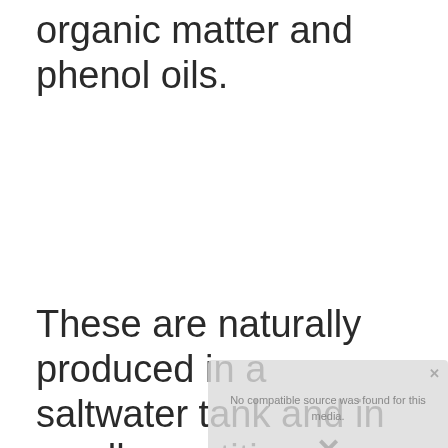organic matter and phenol oils.
These are naturally produced in a saltwater tank and in small quantities are not harmful to the
[Figure (other): A greyed-out overlay box with an X close button and text indicating no compatible source was found for this media, with an X symbol below.]